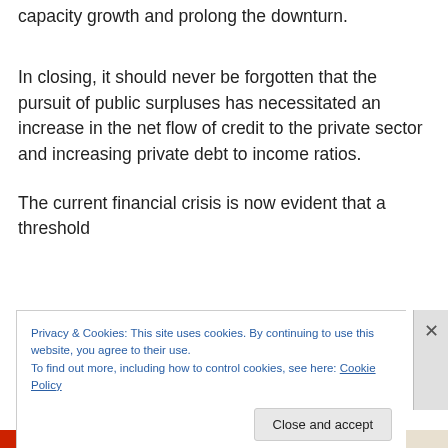capacity growth and prolong the downturn.
In closing, it should never be forgotten that the pursuit of public surpluses has necessitated an increase in the net flow of credit to the private sector and increasing private debt to income ratios.
The current financial crisis is now evident that a threshold
Privacy & Cookies: This site uses cookies. By continuing to use this website, you agree to their use.
To find out more, including how to control cookies, see here: Cookie Policy